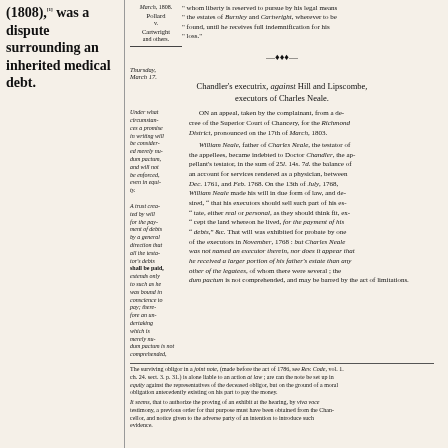(1808),[1] was a dispute surrounding an inherited medical debt.
March, 1808. Pollard v. Cartwright and others. whom liberty is reserved to pursue by his legal means, the estates of Burnley and Cartwright, wherever to be found, until he receives full indemnification for his loss.
Thursday, March 17. Chandler's executrix, against Hill and Lipscombe, executors of Charles Neale.
Under what circumstances a promise in writing will be considered merely nudum pactum, and will not be enforced, even in equity.
A trust created by will for the payment of debts by a general direction that all the testator's debts shall be paid, extends only to such as he was bound in conscience to pay; therefore an undertaking which is merely nudum pactum is not comprehended, and may be barred by the act of limitations.
ON an appeal, taken by the complainant, from a decree of the Superior Court of Chancery, for the Richmond District, pronounced on the 17th of March, 1803. William Neale, father of Charles Neale, the testator of the appellees, became indebted to Doctor Chandler, the appellant's testator, in the sum of 25l. 14s. 7d. the balance of an account for services rendered as a physician, between Dec. 1761, and Feb. 1768. On the 13th of July, 1768, William Neale made his will in due form of law, and desired, 'that his executors should sell such part of his estate, either real or personal, as they should think fit, except the land whereon he lived, for the payment of his debts,' &c. That will was exhibited for probate by one of the executors in November, 1768: but Charles Neale was not named an executor therein, nor does it appear that he received a larger portion of his father's estate than any other of the legatees, of whom there were several; the
The surviving obligor in a joint note, (made before the act of 1786, see Rev. Code, vol. 1. ch. 24. sect. 3. p. 31.) is alone liable to an action at law; are can the note be set up in equity against the representatives of the deceased obligor, but on the ground of a moral obligation antecedently existing on his part to pay the money.
It seems, that to authorize the proving of an exhibit at the hearing, by viva voce testimony, a previous order for that purpose must have been obtained from the Chancellor, and notice given to the adverse party of an intention to introduce such evidence.